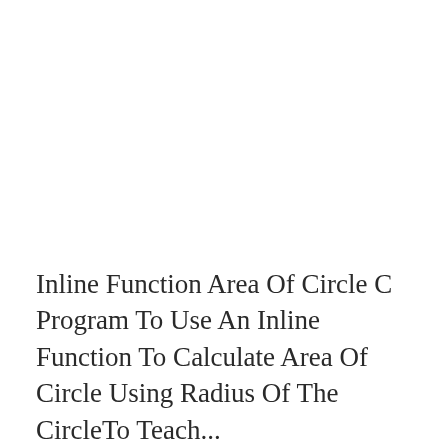Inline Function Area Of Circle C Program To Use An Inline Function To Calculate Area Of Circle Using Radius Of The CircleTo Teach...